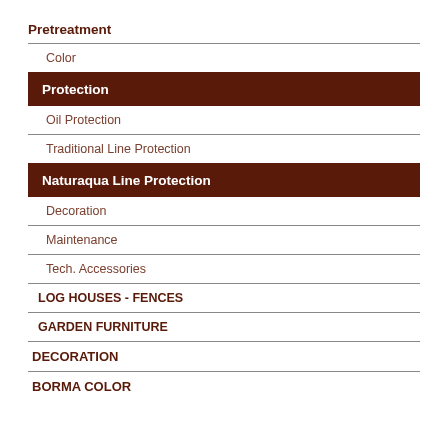Pretreatment
Color
Protection
Oil Protection
Traditional Line Protection
Naturaqua Line Protection
Decoration
Maintenance
Tech. Accessories
LOG HOUSES - FENCES
GARDEN FURNITURE
DECORATION
BORMA COLOR